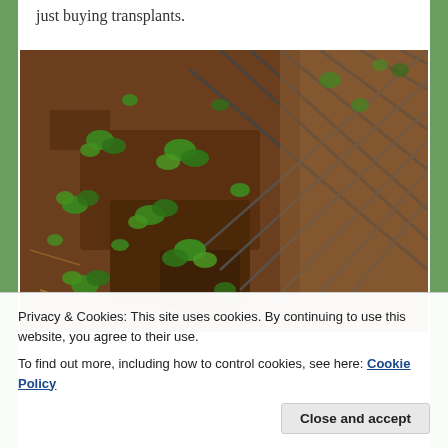just buying transplants.
[Figure (photo): Overhead photo of small green seedlings growing from dark soil in a garden bed, with a wire mesh grid/fence visible in the upper right portion of the image.]
Privacy & Cookies: This site uses cookies. By continuing to use this website, you agree to their use.
To find out more, including how to control cookies, see here: Cookie Policy